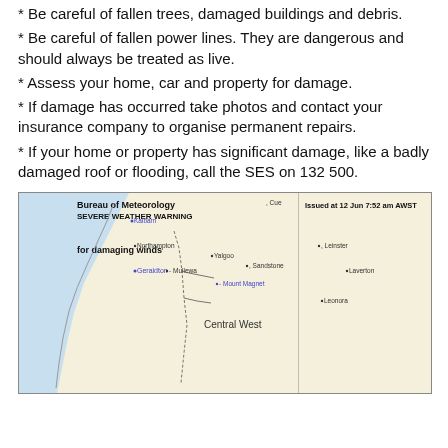* Be careful of fallen trees, damaged buildings and debris.
* Be careful of fallen power lines. They are dangerous and should always be treated as live.
* Assess your home, car and property for damage.
* If damage has occurred take photos and contact your insurance company to organise permanent repairs.
* If your home or property has significant damage, like a badly damaged roof or flooding, call the SES on 132 500.
[Figure (map): Bureau of Meteorology Severe Weather Warning map for damaging winds, Western Australia Central West region. Issued at 12 Jun 7:52 am AWST. Shows coastal and inland areas including Geraldton, Northampton, Mullewa, Yalgoo, Mount Magnet, Sandstone, Leinster, Laverton, Leonora, and Central West label.]